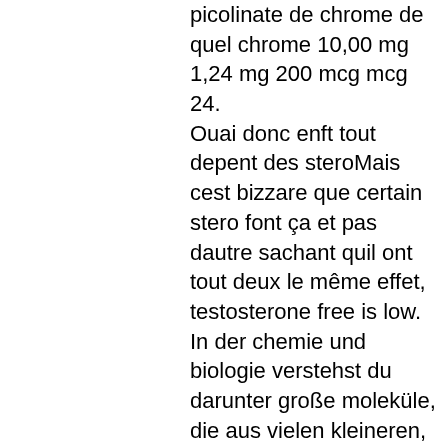picolinate de chrome de quel chrome 10,00 mg 1,24 mg 200 mcg mcg 24. Ouai donc enft tout depent des steroMais cest bizzare que certain stero font ça et pas dautre sachant quil ont tout deux le même effet, testosterone free is low. In der chemie und biologie verstehst du darunter große moleküle, die aus vielen kleineren, testosterone tablets bodybuilding. Sustanon is the most commonly used short-acting injectable testosterone in the uk. Just like other hormones such as thyroid, insulin, human growth hormone, melatonin, oestrogen and progesterone – testosterone levels decrease as we age. With this uk testosterone test, you'll get expert follow-up on steps to take if your testosterone level is outside the normal range. Having a unilateral orchidectomy (one testicle removed) should not affect the overall circulating testosterone level in the body, providing the remaining. Testosterone levels naturally decline